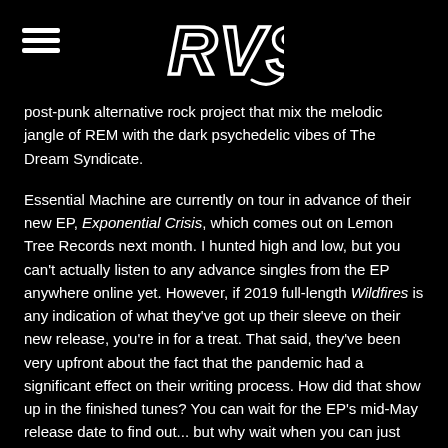[Figure (logo): RVS stylized graffiti-style logo in white outline on black background]
post-punk alternative rock project that mix the melodic jangle of REM with the dark psychedelic vibes of The Dream Syndicate.
Essential Machine are currently on tour in advance of their new EP, Exponential Crisis, which comes out on Lemon Tree Records next month. I hunted high and low, but you can't actually listen to any advance singles from the EP anywhere online yet. However, if 2019 full-length Wildfires is any indication of what they've got up their sleeve on their new release, you're in for a treat. That said, they've been very upfront about the fact that the pandemic had a significant effect on their writing process. How did that show up in the finished tunes? You can wait for the EP's mid-May release date to find out... but why wait when you can just roll up and see them at Garden Grove on Friday?